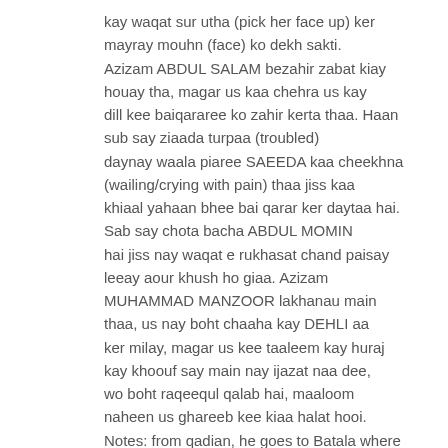kay waqat sur utha (pick her face up) ker mayray mouhn (face) ko dekh sakti. Azizam ABDUL SALAM bezahir zabat kiay houay tha, magar us kaa chehra us kay dill kee baiqararee ko zahir kerta thaa. Haan sub say ziaada turpaa (troubled) daynay waala piaree SAEEDA kaa cheekhna (wailing/crying with pain) thaa jiss kaa khiaal yahaan bhee bai qarar ker daytaa hai. Sab say chota bacha ABDUL MOMIN hai jiss nay waqat e rukhasat chand paisay leeay aour khush ho giaa. Azizam MUHAMMAD MANZOOR lakhanau main thaa, us nay boht chaaha kay DEHLI aa ker milay, magar us kee taaleem kay huraj kay khoouf say main nay ijazat naa dee, wo boht raqeequl qalab hai, maaloom naheen us ghareeb kee kiaa halat hooi. Notes: from qadian, he goes to Batala where he meets munshi abdul karim and